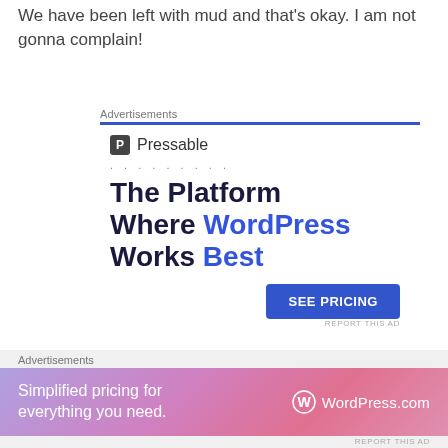We have been left with mud and that's okay. I am not gonna complain!
[Figure (screenshot): Pressable advertisement: 'The Platform Where WordPress Works Best' with SEE PRICING button]
[Figure (screenshot): WordPress.com banner ad: 'Simplified pricing for everything you need.' with WordPress.com logo]